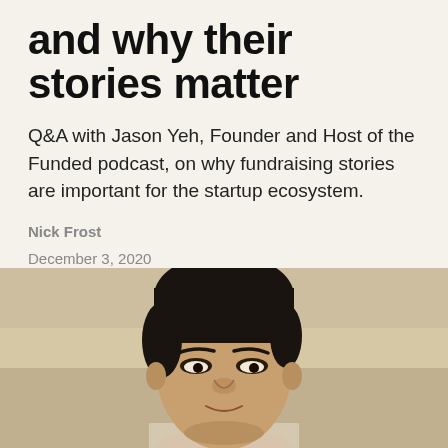and why their stories matter
Q&A with Jason Yeh, Founder and Host of the Funded podcast, on why fundraising stories are important for the startup ecosystem.
Nick Frost
December 3, 2020
[Figure (photo): Portrait photo of Jason Yeh, a man with dark hair, photographed from the shoulders up against a blurred indoor background]